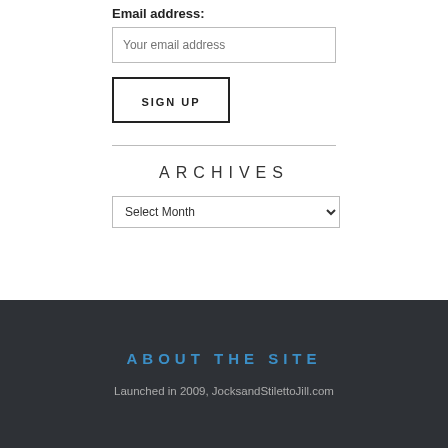Email address:
[Figure (screenshot): Email address input field with placeholder text 'Your email address']
[Figure (screenshot): SIGN UP button with black border]
ARCHIVES
[Figure (screenshot): Select Month dropdown]
ABOUT THE SITE
Launched in 2009, JocksandStilettoJill.com